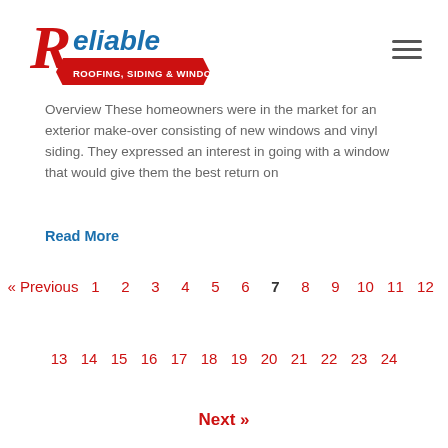[Figure (logo): Reliable Roofing, Siding & Windows company logo with red script R and banner]
Overview These homeowners were in the market for an exterior make-over consisting of new windows and vinyl siding. They expressed an interest in going with a window that would give them the best return on
Read More
« Previous 1 2 3 4 5 6 7 8 9 10 11 12
13 14 15 16 17 18 19 20 21 22 23 24
Next »